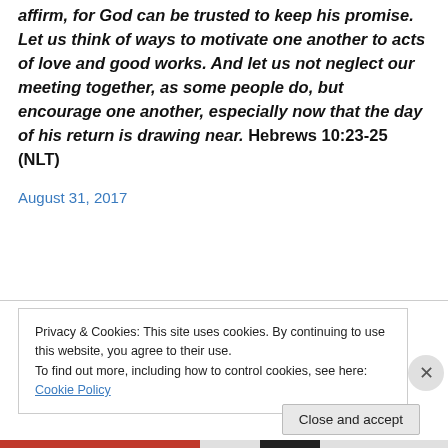affirm, for God can be trusted to keep his promise. Let us think of ways to motivate one another to acts of love and good works. And let us not neglect our meeting together, as some people do, but encourage one another, especially now that the day of his return is drawing near. Hebrews 10:23-25 (NLT)
August 31, 2017
Privacy & Cookies: This site uses cookies. By continuing to use this website, you agree to their use.
To find out more, including how to control cookies, see here: Cookie Policy
Close and accept